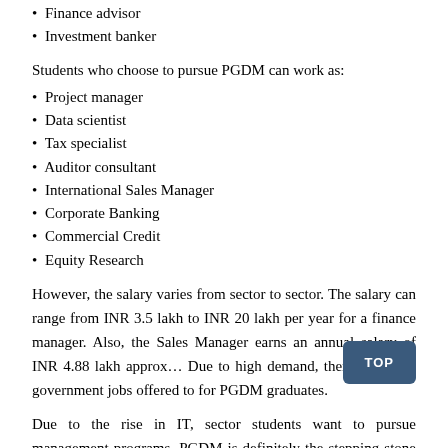• Finance advisor
• Investment banker
Students who choose to pursue PGDM can work as:
• Project manager
• Data scientist
• Tax specialist
• Auditor consultant
• International Sales Manager
• Corporate Banking
• Commercial Credit
• Equity Research
However, the salary varies from sector to sector. The salary can range from INR 3.5 lakh to INR 20 lakh per year for a finance manager. Also, the Sales Manager earns an annual salary of INR 4.88 lakh approx… Due to high demand, there are many government jobs offered to for PGDM graduates.
Due to the rise in IT, sector students want to pursue management programs. PGDM is definitely the stepping stone for corporate explore that aspirants need as the course polishes overall personality.